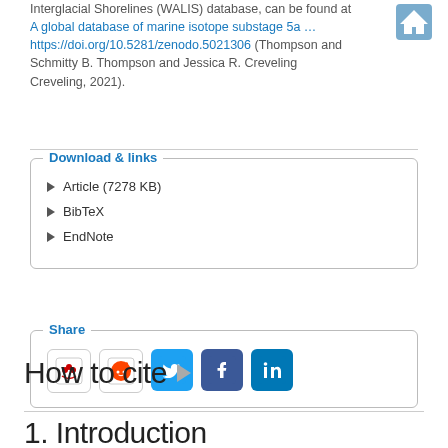Interglacial Shorelines (WALIS) database, can be found at A global database of marine isotope substage 5a ... https://doi.org/10.5281/zenodo.5021306 (Thompson and Schmitty B. Thompson and Jessica R. Creveling Creveling, 2021).
Download & links
Article (7278 KB)
BibTeX
EndNote
Share
[Figure (other): Social sharing icons: Mendeley, Reddit, Twitter, Facebook, LinkedIn]
How to cite
1. Introduction